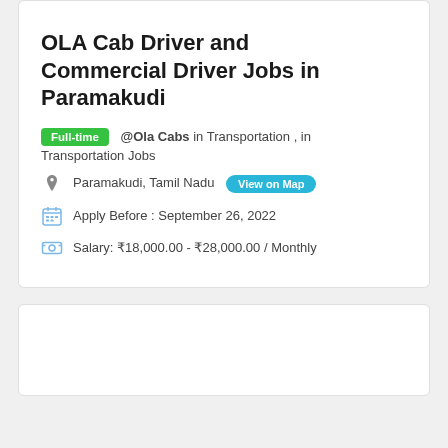OLA Cab Driver and Commercial Driver Jobs in Paramakudi
Full-time @Ola Cabs in Transportation , in Transportation Jobs
Paramakudi, Tamil Nadu  View on Map
Apply Before : September 26, 2022
Salary: ₹18,000.00 - ₹28,000.00 / Monthly